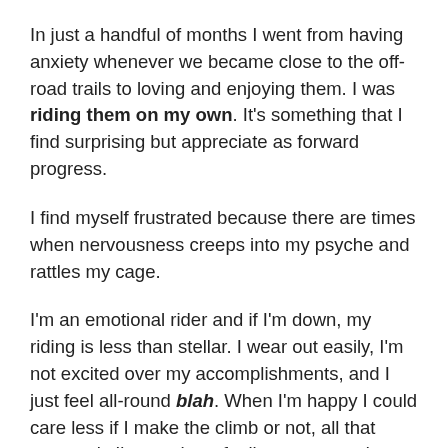In just a handful of months I went from having anxiety whenever we became close to the off-road trails to loving and enjoying them. I was riding them on my own. It's something that I find surprising but appreciate as forward progress.
I find myself frustrated because there are times when nervousness creeps into my psyche and rattles my cage.
I'm an emotional rider and if I'm down, my riding is less than stellar. I wear out easily, I'm not excited over my accomplishments, and I just feel all-round blah. When I'm happy I could care less if I make the climb or not, all that matters is I'm out there feeling strong and having a grand time.
There are some trails I haven't been more than once and there are trail conditions I'm not seasoned with. You combine the two and you have a nervous Josie who is riding her beautiful, carbon fiber bike like she's afraid of it. My ride on Tuesday